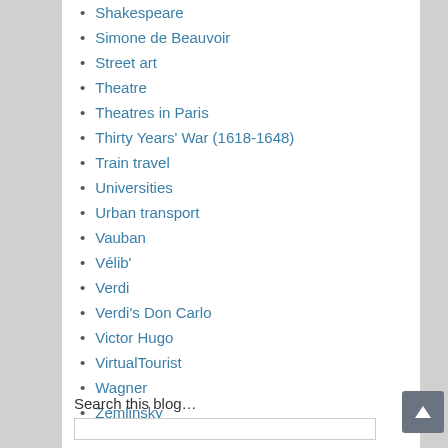Shakespeare
Simone de Beauvoir
Street art
Theatre
Theatres in Paris
Thirty Years' War (1618-1648)
Train travel
Universities
Urban transport
Vauban
Vélib'
Verdi
Verdi's Don Carlo
Victor Hugo
VirtualTourist
Wagner
Zemlinsky
Search this blog…